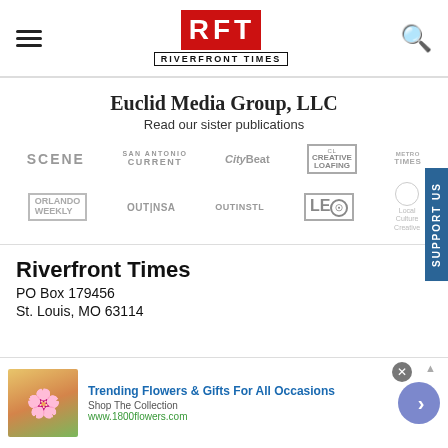RFT RIVERFRONT TIMES
Euclid Media Group, LLC
Read our sister publications
[Figure (logo): Row of publication logos: SCENE, CURRENT, CityBeat, Creative Loafing, Metro Times]
[Figure (logo): Row of publication logos: Orlando Weekly, OUT|NSA, OUTINSTL, LEO, Local Culture Creative]
Riverfront Times
PO Box 179456
[Figure (infographic): Advertisement banner: Trending Flowers & Gifts For All Occasions, Shop The Collection, www.1800flowers.com, with flower image and arrow button]